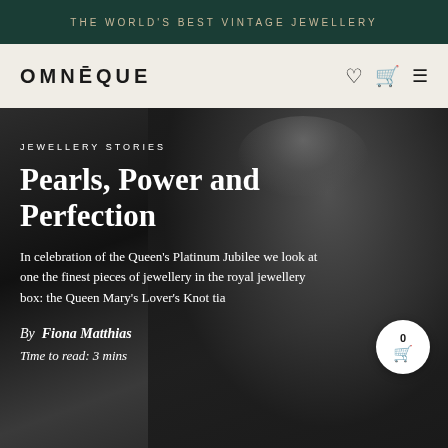THE WORLD'S BEST VINTAGE JEWELLERY
OMNĒQUE
[Figure (photo): Black and white photograph of Queen Elizabeth II wearing the Queen Mary's Lover's Knot tiara, pearl necklace, smiling, with another person partially visible behind her.]
JEWELLERY STORIES
Pearls, Power and Perfection
In celebration of the Queen's Platinum Jubilee we look at one the finest pieces of jewellery in the royal jewellery box: the Queen Mary's Lover's Knot tiara.
By  Fiona Matthias
Time to read: 3 mins